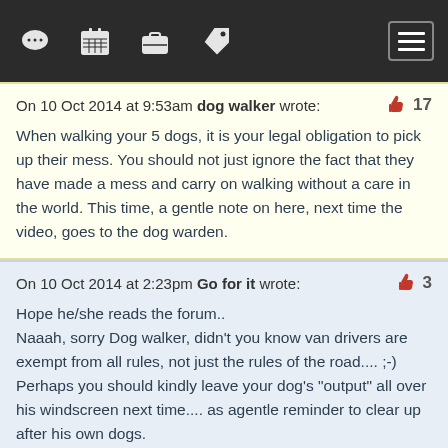Navigation bar with icons: chat, calendar, briefcase, tag, menu
On 10 Oct 2014 at 9:53am dog walker wrote:  👍 17
When walking your 5 dogs, it is your legal obligation to pick up their mess. You should not just ignore the fact that they have made a mess and carry on walking without a care in the world. This time, a gentle note on here, next time the video, goes to the dog warden.
On 10 Oct 2014 at 2:23pm Go for it wrote:  👍 3
Hope he/she reads the forum..
Naaah, sorry Dog walker, didn't you know van drivers are exempt from all rules, not just the rules of the road.... ;-)
Perhaps you should kindly leave your dog's "output" all over his windscreen next time.... as agentle reminder to clear up after his own dogs.